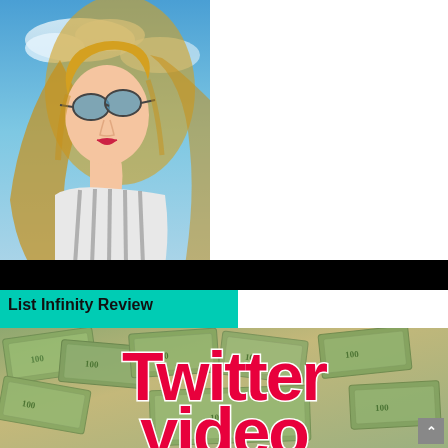[Figure (photo): Split image: left half shows a blonde woman with sunglasses and red lips against a blue sky, wearing a striped top. Right half is a teal/turquoise background with bold black text reading LIST INFINITY REVIEW. Below the image is a black bar.]
List Infinity Review
[Figure (photo): Image showing piles of US $100 dollar bills scattered as background, with bold red text overlaid reading 'Twitter video' (partially visible, 'video' is cut off at bottom).]